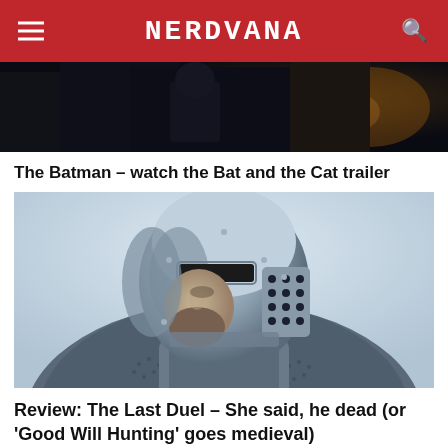NERDVANA
[Figure (screenshot): Dark screenshot from The Batman movie showing a shadowy figure]
The Batman – watch the Bat and the Cat trailer
[Figure (photo): A knight in medieval armor with a full helmet with visor and chain mail coif, close-up portrait, cold blue-grey tones]
Review: The Last Duel – She said, he dead (or 'Good Will Hunting' goes medieval)